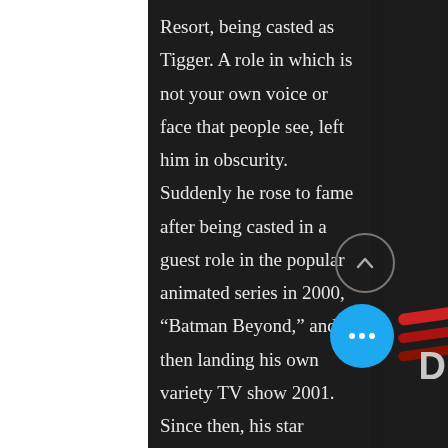Resort, being casted as Tigger. A role in which is not your own voice or face that people see, left him in obscurity. Suddenly he rose to fame after being casted in a guest role in the popular animated series in 2000, “Batman Beyond,” and then landing his own variety TV show 2001. Since then, his star continued to rise as a comedian, actor, and even singer. Many artists get discouraged when they release their creative content into the web and they don't receive the amount of fame and support they would like, but SAS Movie